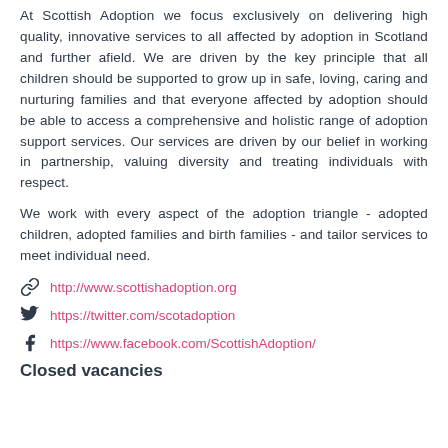At Scottish Adoption we focus exclusively on delivering high quality, innovative services to all affected by adoption in Scotland and further afield. We are driven by the key principle that all children should be supported to grow up in safe, loving, caring and nurturing families and that everyone affected by adoption should be able to access a comprehensive and holistic range of adoption support services. Our services are driven by our belief in working in partnership, valuing diversity and treating individuals with respect.
We work with every aspect of the adoption triangle - adopted children, adopted families and birth families - and tailor services to meet individual need.
http://www.scottishadoption.org
https://twitter.com/scotadoption
https://www.facebook.com/ScottishAdoption/
Closed vacancies